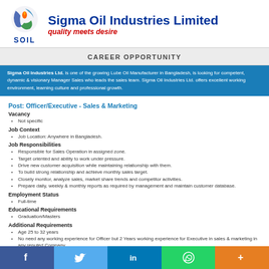[Figure (logo): Sigma Oil Industries Limited logo with SOIL text and tagline 'quality meets desire']
CAREER OPPORTUNITY
Sigma Oil Industries Ltd. is one of the growing Lube Oil Manufacturer in Bangladesh, is looking for competent, dynamic & visionary Manager Sales who leads the sales team. Sigma Oil Industries Ltd. offers excellent working environment, learning culture and professional growth.
Post: Officer/Executive - Sales & Marketing
Vacancy
Not specific
Job Context
Job Location: Anywhere in Bangladesh.
Job Responsibilities
Responsible for Sales Operation in assigned zone.
Target oriented and ability to work under pressure.
Drive new customer acquisition while maintaining relationship with them.
To build strong relationship and achieve monthly sales target.
Closely monitor, analyze sales, market share trends and competitor activities.
Prepare daily, weekly & monthly reports as required by management and maintain customer database.
Employment Status
Full-time
Educational Requirements
Graduation/Masters
Additional Requirements
Age 25 to 32 years
No need any working experience for Officer but 2 Years working experience for Executive in sales & marketing in any reputed Company.
[Figure (infographic): Social media share buttons: Facebook, Twitter, LinkedIn, WhatsApp, More]